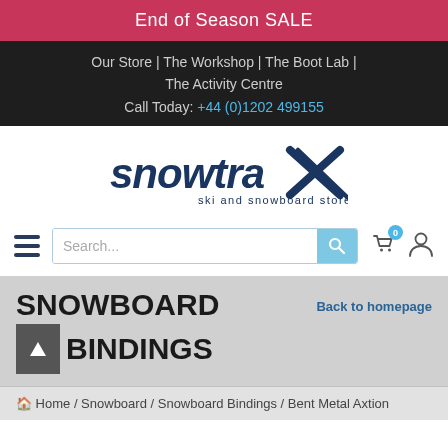End of Season SALE
Our Store | The Workshop | The Boot Lab | The Activity Centre
Call Today: +44 (0)1202 499155
[Figure (logo): Snowtrax ski and snowboard store logo in dark navy blue text]
[Figure (screenshot): Navigation search bar with hamburger menu icon, search input field, cart icon with badge 0, and user icon]
SNOWBOARD
Back to homepage
BINDINGS
Home / Snowboard / Snowboard Bindings / Bent Metal Axtion